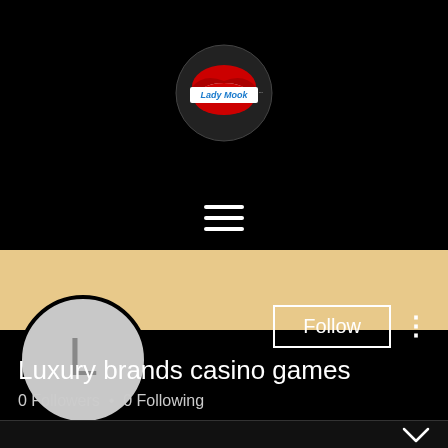[Figure (logo): Lady Mook logo — red lips with a white banner across the center reading 'Lady Mook' in blue cursive text, on a black background]
[Figure (other): Hamburger menu icon — three horizontal white lines on black background]
[Figure (other): Tan/beige banner background strip]
[Figure (other): Circular grey avatar with letter L, Follow button with border, vertical three-dots more menu icon]
Luxury brands casino games
0 Followers • 0 Following
[Figure (other): Dark bottom panel with a downward chevron arrow on the right]